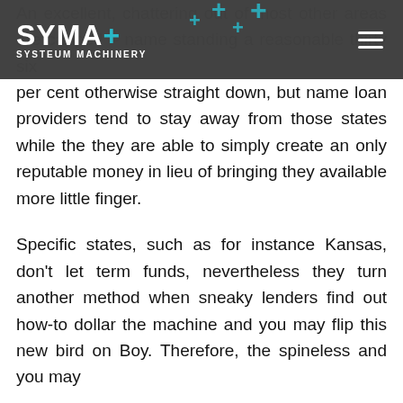SYMA+ SYSTEUM MACHINERY
An excellent, chattering out of most other areas are capped – name standing a reasonable thirty six per cent otherwise straight down, but name loan providers tend to stay away from those states while the they are able to simply create an only reputable money in lieu of bringing they available more little finger.
Specific states, such as for instance Kansas, don't let term funds, nevertheless they turn another method when sneaky lenders find out how-to dollar the machine and you may flip this new bird on Boy. Therefore, the spineless and you may